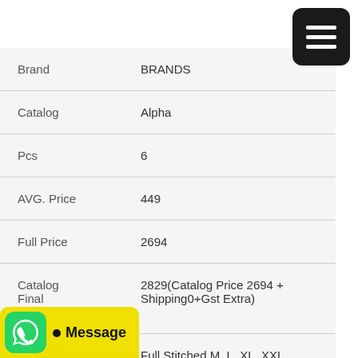| Brand | BRANDS |
| Catalog | Alpha |
| Pcs | 6 |
| AVG. Price | 449 |
| Full Price | 2694 |
| Catalog Final Amount | 2829(Catalog Price 2694 + Shipping0+Gst Extra) |
|  | Full Stitched,M, L, XL, XXL |
[Figure (other): Black hamburger menu button (three white horizontal bars) in top-right corner]
[Figure (other): WhatsApp green icon with Message button in yellow at bottom-left]